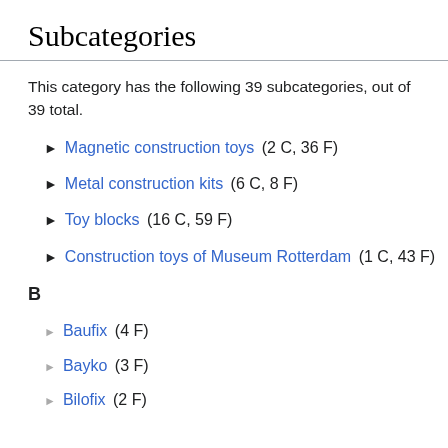Subcategories
This category has the following 39 subcategories, out of 39 total.
▶ Magnetic construction toys (2 C, 36 F)
▶ Metal construction kits (6 C, 8 F)
▶ Toy blocks (16 C, 59 F)
▶ Construction toys of Museum Rotterdam (1 C, 43 F)
B
► Baufix (4 F)
► Bayko (3 F)
► Bilofix (2 F)